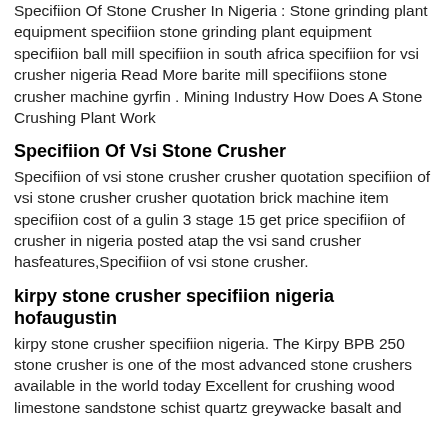Specifiion Of Stone Crusher In Nigeria : Stone grinding plant equipment specifiion stone grinding plant equipment specifiion ball mill specifiion in south africa specifiion for vsi crusher nigeria Read More barite mill specifiions stone crusher machine gyrfin . Mining Industry How Does A Stone Crushing Plant Work
Specifiion Of Vsi Stone Crusher
Specifiion of vsi stone crusher crusher quotation specifiion of vsi stone crusher crusher quotation brick machine item specifiion cost of a gulin 3 stage 15 get price specifiion of crusher in nigeria posted atap the vsi sand crusher hasfeatures,Specifiion of vsi stone crusher.
kirpy stone crusher specifiion nigeria hofaugustin
kirpy stone crusher specifiion nigeria. The Kirpy BPB 250 stone crusher is one of the most advanced stone crushers available in the world today Excellent for crushing wood limestone sandstone schist quartz greywacke basalt and